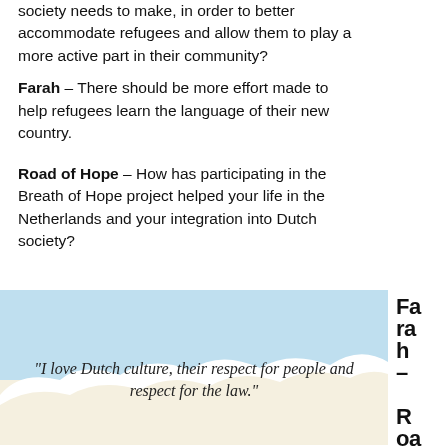society needs to make, in order to better accommodate refugees and allow them to play a more active part in their community?
Farah – There should be more effort made to help refugees learn the language of their new country.
Road of Hope – How has participating in the Breath of Hope project helped your life in the Netherlands and your integration into Dutch society?
[Figure (illustration): Sky with clouds illustration — light blue sky with white cloud shapes at the bottom, cream/off-white background below clouds.]
Farah – Road of H
“I love Dutch culture, their respect for people and respect for the law.”